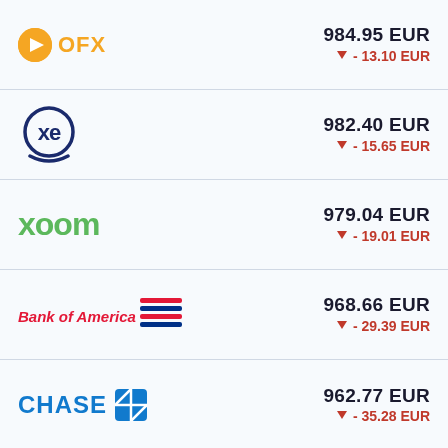| Provider | Amount | Difference |
| --- | --- | --- |
| OFX | 984.95 EUR | ▼ - 13.10 EUR |
| XE | 982.40 EUR | ▼ - 15.65 EUR |
| Xoom | 979.04 EUR | ▼ - 19.01 EUR |
| Bank of America | 968.66 EUR | ▼ - 29.39 EUR |
| Chase | 962.77 EUR | ▼ - 35.28 EUR |